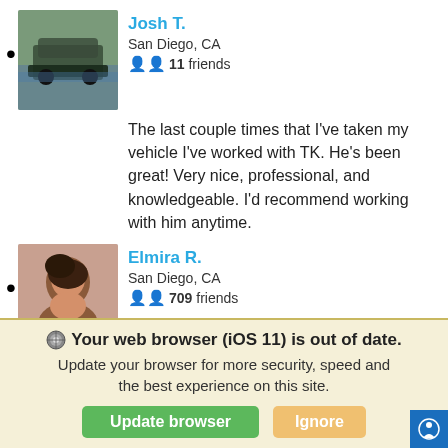Josh T. San Diego, CA 11 friends
The last couple times that I've taken my vehicle I've worked with TK. He's been great! Very nice, professional, and knowledgeable. I'd recommend working with him anytime.
Elmira R. San Diego, CA 709 friends
I definitely recommend checking out this dealership if you are in the area… just tell Mike I said hi!
Your web browser (iOS 11) is out of date. Update your browser for more security, speed and the best experience on this site.